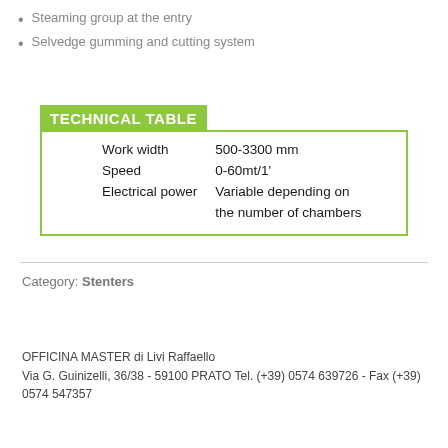Steaming group at the entry
Selvedge gumming and cutting system
|  |  |
| --- | --- |
| Work width | 500-3300 mm |
| Speed | 0-60mt/1' |
| Electrical power | Variable depending on the number of chambers |
Category: Stenters
OFFICINA MASTER di Livi Raffaello
Via G. Guinizelli, 36/38 - 59100 PRATO Tel. (+39) 0574 639726 - Fax (+39) 0574 547357